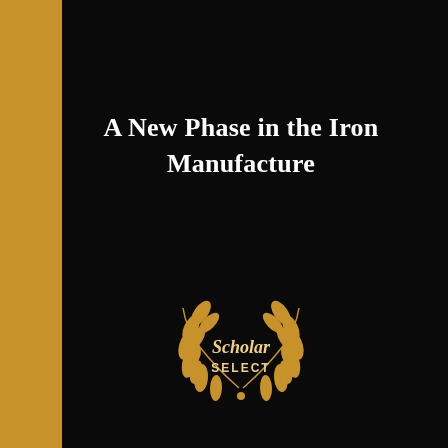[Figure (illustration): Book cover with black background, gold spine on the left, small gold corner tab at top right, white serif title text, and a gold Scholar Select laurel wreath logo at the bottom center.]
A New Phase in the Iron Manufacture
[Figure (logo): Scholar Select gold laurel wreath logo with italic 'Scholar' text and 'SELECT' in uppercase below it, centered at the bottom of the cover.]